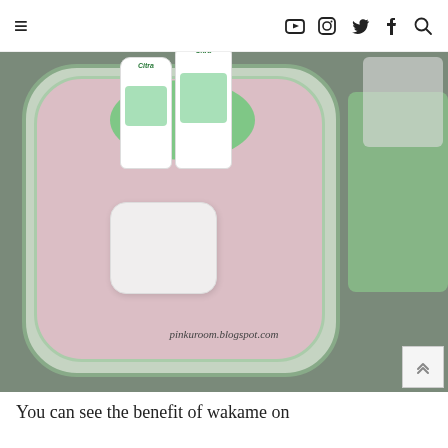≡  [YouTube] [Instagram] [Twitter] [Facebook] [Search]
[Figure (photo): A pink bathtub or basin containing Citra branded body lotion bottles on a green tray, with a white soap dish in the foreground. Watermark reads pinkuroom.blogspot.com]
You can see the benefit of wakame on